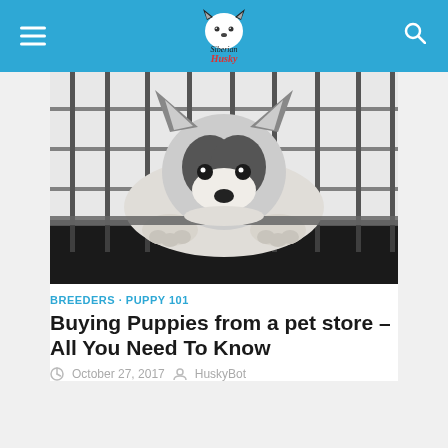Siberian Husky
[Figure (photo): A Siberian Husky puppy lying inside a metal wire cage/crate, looking forward through the bars with its chin resting near the bottom bar.]
BREEDERS · PUPPY 101
Buying Puppies from a pet store – All You Need To Know
October 27, 2017  HuskyBot